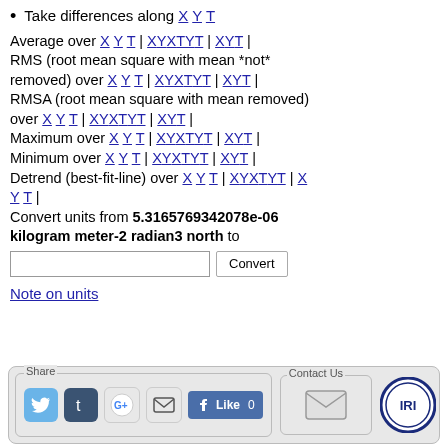Take differences along X Y T
Average over X Y T | X Y X T Y T | X Y T | RMS (root mean square with mean *not* removed) over X Y T | X Y X T Y T | X Y T | RMSA (root mean square with mean removed) over X Y T | X Y X T Y T | X Y T | Maximum over X Y T | X Y X T Y T | X Y T | Minimum over X Y T | X Y X T Y T | X Y T | Detrend (best-fit-line) over X Y T | X Y X T Y T | X Y T | Convert units from 5.3165769342078e-06 kilogram meter-2 radian3 north to [input] Convert
Note on units
[Figure (screenshot): Share bar with social media icons (Twitter, Tumblr, Google+, Email, Facebook Like) and Contact Us box with mail icon, IRI logo]